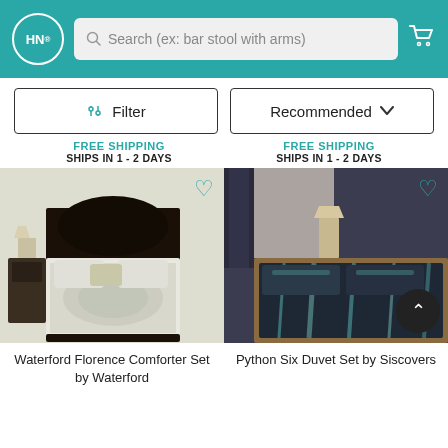[Figure (screenshot): E-commerce website header with teal background, HN logo circle, search bar reading 'Search (ex: bar stool with arms)', and cart icon]
[Figure (other): Filter button with teal filter icon and 'Filter' text, and Recommended dropdown sort button]
FREE SHIPPING
SHIPS IN 1 - 2 DAYS
FREE SHIPPING
SHIPS IN 1 - 2 DAYS
[Figure (photo): Waterford Florence Comforter Set bedding product photo with dark four-poster bed and white/grey damask comforter set]
[Figure (photo): Python Six Duvet Set by Siscovers product photo with dark teal/black abstract pattern duvet on a wood platform bed]
Waterford Florence Comforter Set by Waterford
Python Six Duvet Set by Siscovers